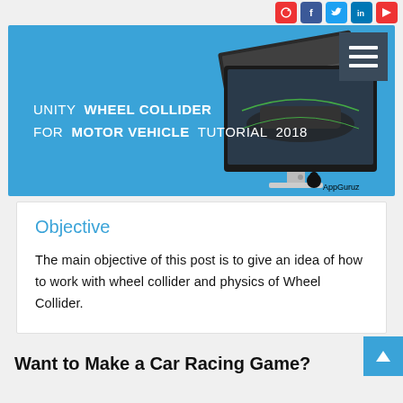[Figure (screenshot): Social media icons (Instagram, Facebook, Twitter, LinkedIn, YouTube) in top right area]
[Figure (screenshot): Blue banner image for Unity Wheel Collider for Motor Vehicle Tutorial 2018 with computer monitor displaying car game screenshots and AppGuruz logo]
Objective
The main objective of this post is to give an idea of how to work with wheel collider and physics of Wheel Collider.
Want to Make a Car Racing Game?